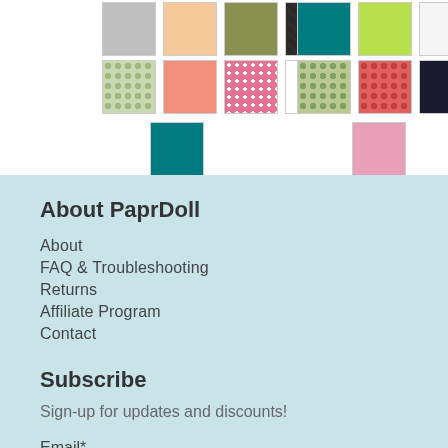[Figure (other): Grid of fabric/color swatches in two columns, showing various patterns and colors including gray, peach, olive, dark print, teal, lime, white, salmon, floral, coral, pink dot, white, floral, red floral, black print, silver gray in top row; second row with similar swatches; and single teal swatch on left and pink swatch on right in third row.]
About PaprDoll
About
FAQ & Troubleshooting
Returns
Affiliate Program
Contact
Subscribe
Sign-up for updates and discounts!
Email*